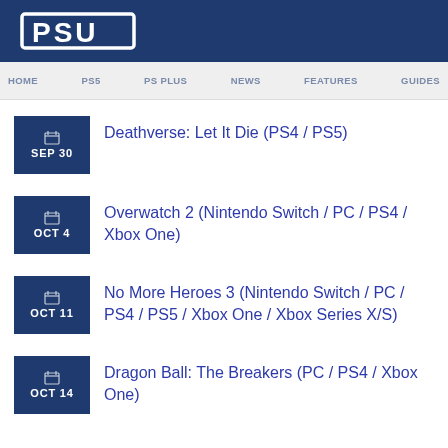PSU
HOME  PS5  PS PLUS  NEWS  FEATURES  GUIDES
SEP 30 — Deathverse: Let It Die (PS4 / PS5)
OCT 4 — Overwatch 2 (Nintendo Switch / PC / PS4 / Xbox One)
OCT 11 — No More Heroes 3 (Nintendo Switch / PC / PS4 / PS5 / Xbox One / Xbox Series X/S)
OCT 14 — Dragon Ball: The Breakers (PC / PS4 / Xbox One)